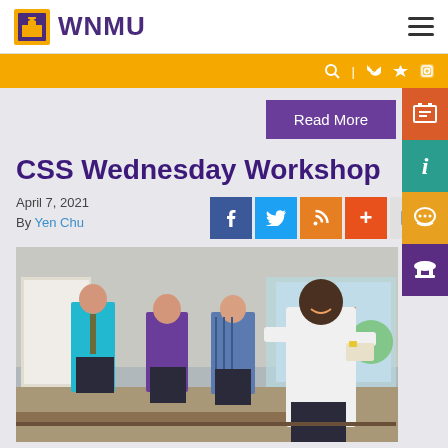WNMU
Read More
CSS Wednesday Workshop
April 7, 2021
By Yen Chu
[Figure (photo): Students standing in a classroom/workshop setting; one young man in a white shirt smiling in the foreground, others standing behind him. Workshop event at WNMU.]